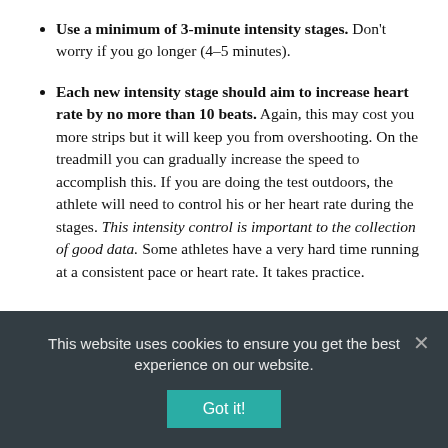Use a minimum of 3-minute intensity stages. Don't worry if you go longer (4–5 minutes).
Each new intensity stage should aim to increase heart rate by no more than 10 beats. Again, this may cost you more strips but it will keep you from overshooting. On the treadmill you can gradually increase the speed to accomplish this. If you are doing the test outdoors, the athlete will need to control his or her heart rate during the stages. This intensity control is important to the collection of good data. Some athletes have a very hard time running at a consistent pace or heart rate. It takes practice.
If you are only doing an AeT test, you can stop the test once you get readings above 3mMol/L or when the lactate reading
This website uses cookies to ensure you get the best experience on our website.